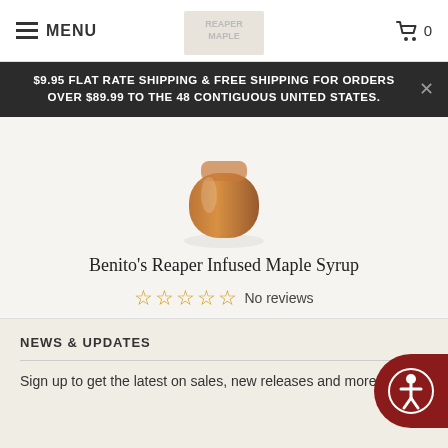≡ MENU | 🛒 0
$9.95 FLAT RATE SHIPPING & FREE SHIPPING FOR ORDERS OVER $89.99 TO THE 48 CONTIGUOUS UNITED STATES.
[Figure (photo): Partial view of a bottle of Benito's Reaper Infused Maple Syrup with amber liquid visible]
Benito's Reaper Infused Maple Syrup
☆☆☆☆☆ No reviews
Sold Out
Pagination: 1 2 3 ... 7 Next »
NEWS & UPDATES
Sign up to get the latest on sales, new releases and more...